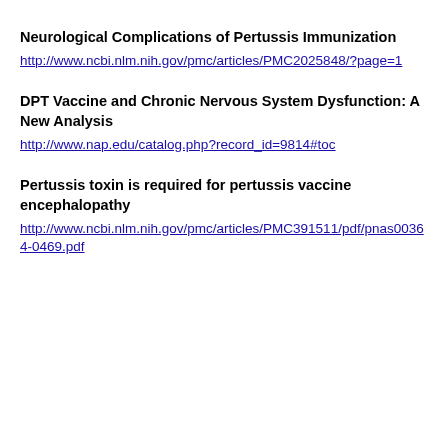Neurological Complications of Pertussis Immunization
http://www.ncbi.nlm.nih.gov/pmc/articles/PMC2025848/?page=1
DPT Vaccine and Chronic Nervous System Dysfunction: A New Analysis
http://www.nap.edu/catalog.php?record_id=9814#toc
Pertussis toxin is required for pertussis vaccine encephalopathy
http://www.ncbi.nlm.nih.gov/pmc/articles/PMC391511/pdf/pnas00364-0469.pdf